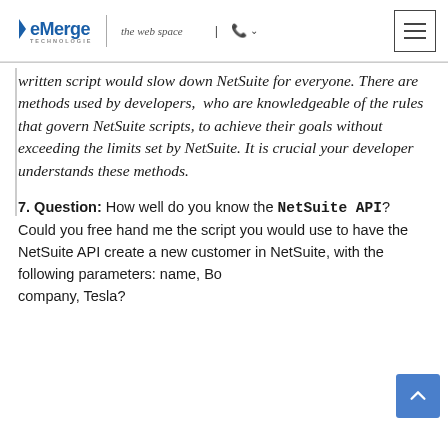eMerge Technologies | the web space | phone
written script would slow down NetSuite for everyone. There are methods used by developers, who are knowledgeable of the rules that govern NetSuite scripts, to achieve their goals without exceeding the limits set by NetSuite. It is crucial your developer understands these methods.
7. Question: How well do you know the NetSuite API? Could you free hand me the script you would use to have the NetSuite API create a new customer in NetSuite, with the following parameters: name, Bob company, Tesla?